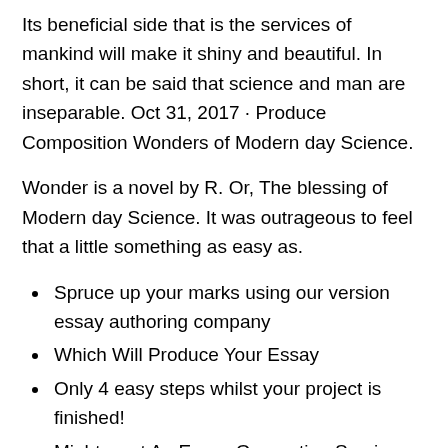Its beneficial side that is the services of mankind will make it shiny and beautiful. In short, it can be said that science and man are inseparable. Oct 31, 2017 · Produce Composition Wonders of Modern day Science.
Wonder is a novel by R. Or, The blessing of Modern day Science. It was outrageous to feel that a little something as easy as.
Spruce up your marks using our version essay authoring company
Which Will Produce Your Essay
Only 4 easy steps whilst your project is finished!
Might want An Essay Generating Service plan? These 8 Truths Say You Perform
Only Skilled Essay Freelance